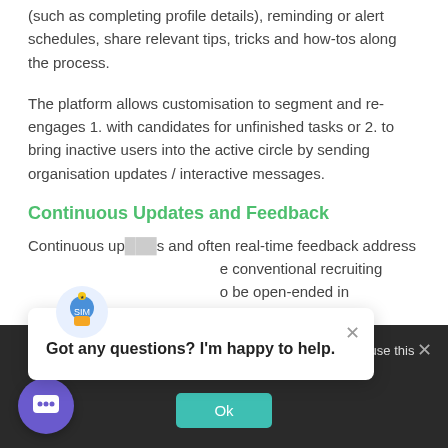(such as completing profile details), reminding or alert schedules, share relevant tips, tricks and how-tos along the process.
The platform allows customisation to segment and re-engages 1. with candidates for unfinished tasks or 2. to bring inactive users into the active circle by sending organisation updates / interactive messages.
Continuous Updates and Feedback
Continuous updates and often real-time feedback address the conventional recruiting … to be open-ended in
[Figure (screenshot): Chat popup widget with avatar icon, close button (×), and text 'Got any questions? I'm happy to help.']
[Figure (screenshot): Cookie consent dark banner with text about best experience and Ok button, plus a circular purple chat bubble button at bottom left.]